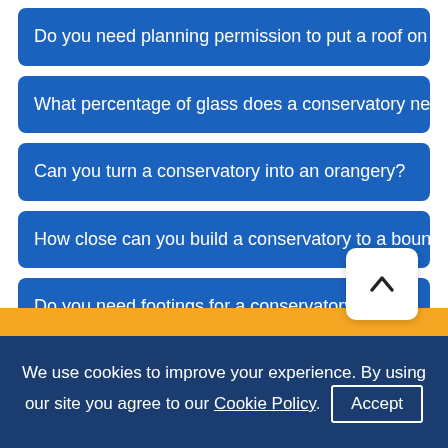Do you need planning permission to put a roof on a conservatory?
What percentage of glass does a conservatory need to be?
Can you turn a conservatory into an orangery?
How close can you build a conservatory to a boundary?
Do you need footings for a conservatory?
Do You Need To Dig Foundations For a Conservatory?
Does a bungalow need planning permission for a conservatory?
Is a conservatory classed as an extension?
We use cookies to improve your experience. By using our site you agree to our Cookie Policy. Accept